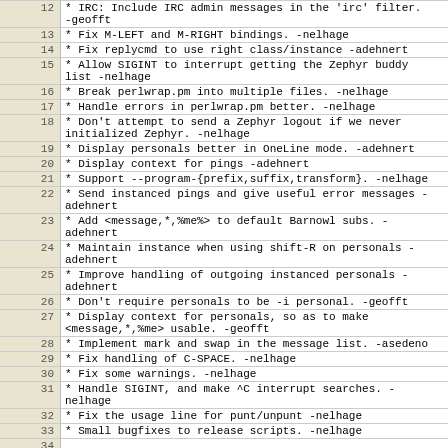| Line | Content |
| --- | --- |
| 12 | * IRC: Include IRC admin messages in the 'irc' filter.
-geofft |
| 13 | * Fix M-LEFT and M-RIGHT bindings. -nelhage |
| 14 | * Fix replycmd to use right class/instance -adehnert |
| 15 | * Allow SIGINT to interrupt getting the Zephyr buddy
list -nelhage |
| 16 | * Break perlwrap.pm into multiple files. -nelhage |
| 17 | * Handle errors in perlwrap.pm better. -nelhage |
| 18 | * Don't attempt to send a Zephyr logout if we never
initialized Zephyr. -nelhage |
| 19 | * Display personals better in OneLine mode. -adehnert |
| 20 | * Display context for pings -adehnert |
| 21 | * Support --program-{prefix,suffix,transform}. -nelhage |
| 22 | * Send instanced pings and give useful error messages -
adehnert |
| 23 | * Add <message,*,%me%> to default Barnowl subs. -
adehnert |
| 24 | * Maintain instance when using shift-R on personals -
adehnert |
| 25 | * Improve handling of outgoing instanced personals -
adehnert |
| 26 | * Don't require personals to be -i personal. -geofft |
| 27 | * Display context for personals, so as to make
<message,*,%me> usable. -geofft |
| 28 | * Implement mark and swap in the message list. -asedeno |
| 29 | * Fix handling of C-SPACE. -nelhage |
| 30 | * Fix some warnings. -nelhage |
| 31 | * Handle SIGINT, and make ^C interrupt searches. -
nelhage |
| 32 | * Fix the usage line for punt/unpunt -nelhage |
| 33 | * Small bugfixes to release scripts. -nelhage |
| 34 |  |
| 35 | 1.1.1 |